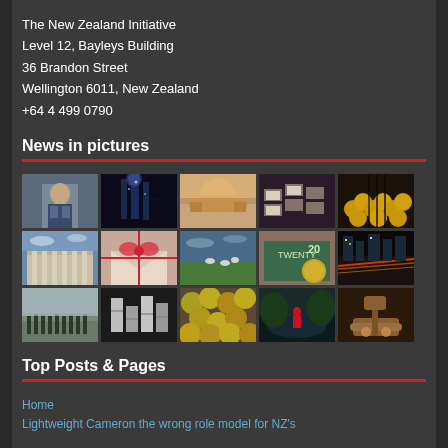The New Zealand Initiative
Level 12, Bayleys Building
36 Brandon Street
Wellington 6011, New Zealand
+64 4 499 0790
News in pictures
[Figure (photo): Grid of 15 thumbnail photos arranged in 3 rows of 5, showing various news-related images including a person in a suit, illuminated buildings at night, a domed building/mosque, exam hall with papers, coins/gold, European building with columns, letter/envelope with bow, green landscape with sheep, New Zealand currency, city street at night with light trails, military/crowd scene, abstract black and white, coins/currency close-up, person in red by water, judge's gavel with wooden discs]
Top Posts & Pages
Home
Lightweight Cameron the wrong role model for NZ's